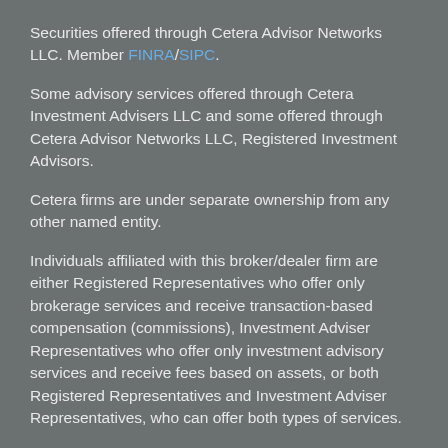Securities offered through Cetera Advisor Networks LLC. Member FINRA/SIPC.
Some advisory services offered through Cetera Investment Advisers LLC and some offered through Cetera Advisor Networks LLC, Registered Investment Advisors.
Cetera firms are under separate ownership from any other named entity.
Individuals affiliated with this broker/dealer firm are either Registered Representatives who offer only brokerage services and receive transaction-based compensation (commissions), Investment Adviser Representatives who offer only investment advisory services and receive fees based on assets, or both Registered Representatives and Investment Adviser Representatives, who can offer both types of services.
This site is published for residents of the United States only. Registered representatives of Cetera Advisor Networks may only conduct business with residents of the states and/or jurisdictions in which they are properly registered.  Not all of the